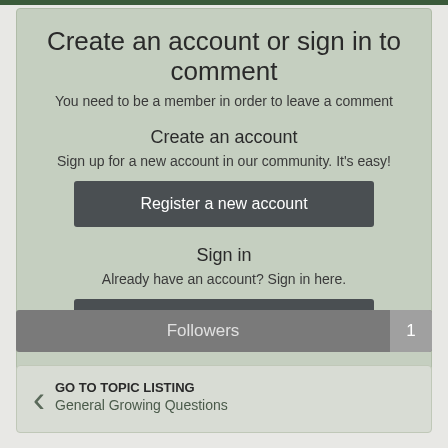Create an account or sign in to comment
You need to be a member in order to leave a comment
Create an account
Sign up for a new account in our community. It's easy!
Register a new account
Sign in
Already have an account? Sign in here.
Sign In Now
Followers 1
GO TO TOPIC LISTING
General Growing Questions